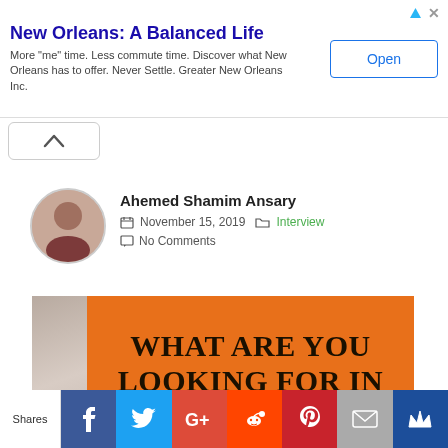[Figure (screenshot): Advertisement banner: 'New Orleans: A Balanced Life' with Open button]
New Orleans: A Balanced Life
More "me" time. Less commute time. Discover what New Orleans has to offer. Never Settle. Greater New Orleans Inc.
[Figure (screenshot): Upward chevron button]
Ahemed Shamim Ansary
November 15, 2019  Interview  No Comments
[Figure (photo): Orange background with bold text: WHAT ARE YOU LOOKING FOR IN A JOB?]
WHAT ARE YOU LOOKING FOR IN A JOB?
[Figure (infographic): Social sharing bar: Shares, Facebook, Twitter, Google+, Reddit, Pinterest, Email, Crown icon]